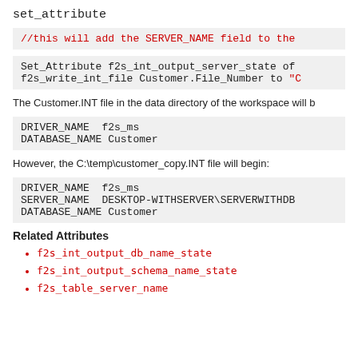set_attribute
//this will add the SERVER_NAME field to the
Set_Attribute f2s_int_output_server_state of f2s_write_int_file Customer.File_Number to "C
The Customer.INT file in the data directory of the workspace will b
DRIVER_NAME f2s_ms
DATABASE_NAME Customer
However, the C:\temp\customer_copy.INT file will begin:
DRIVER_NAME f2s_ms
SERVER_NAME DESKTOP-WITHSERVER\SERVERWITHDB
DATABASE_NAME Customer
Related Attributes
f2s_int_output_db_name_state
f2s_int_output_schema_name_state
f2s_table_server_name